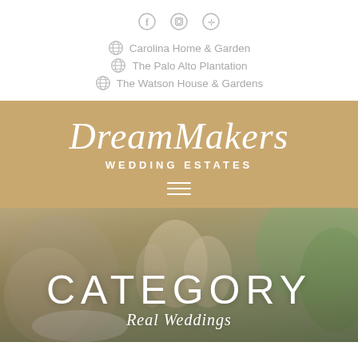[Figure (logo): Social media icons: Facebook, Instagram, Pinterest]
Carolina Home & Garden
The Palo Alto Plantation
The Watson House & Gardens
DreamMakers WEDDING ESTATES
[Figure (other): Hamburger menu icon (three horizontal lines)]
[Figure (photo): Wedding reception table setting with floral arrangements, gold-rimmed glassware, and white flowers. Overlay text: CATEGORY / Real Weddings]
CATEGORY
Real Weddings